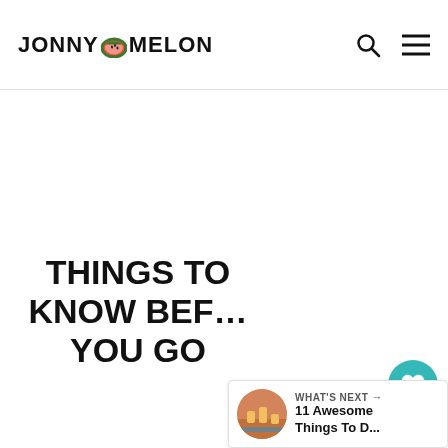JONNY MELON
[Figure (other): Large white/blank content image area below header]
THINGS TO KNOW BEFORE YOU GO
321
WHAT'S NEXT → 11 Awesome Things To D...